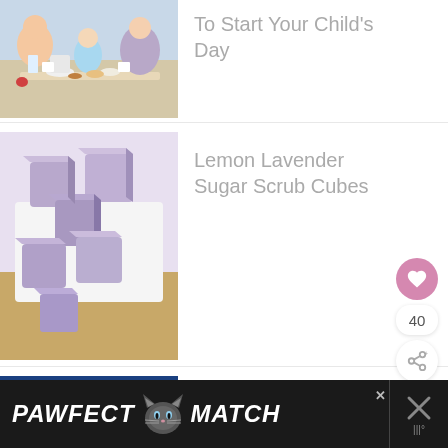[Figure (photo): Family eating breakfast at a table with donuts and cups]
To Start Your Child's Day
[Figure (photo): Purple lavender sugar scrub cubes on a white plate and burlap]
Lemon Lavender Sugar Scrub Cubes
[Figure (photo): Grilled cheese sandwich being pulled apart showing melted cheese]
25 Best Grilled Cheese Recipes You H… Try
WHAT'S NEXT → One-Pot Old-Fashioned...
[Figure (photo): Advertisement banner: PAWFECT MATCH with a cat graphic]